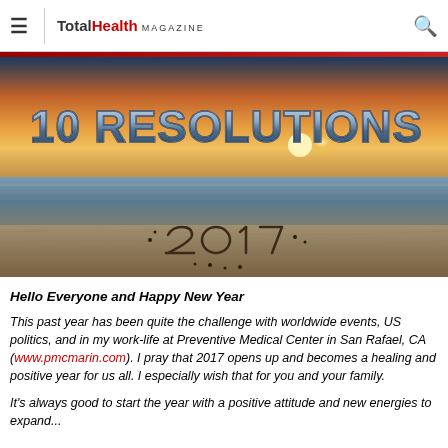TotalHealth MAGAZINE
[Figure (photo): Beach sunset photo with '10 RESOLUTIONS' text overlay and '2017' written in sand]
Hello Everyone and Happy New Year
This past year has been quite the challenge with worldwide events, US politics, and in my work-life at Preventive Medical Center in San Rafael, CA (www.pmcmarin.com). I pray that 2017 opens up and becomes a healing and positive year for us all. I especially wish that for you and your family.
It's always good to start the year with a positive attitude and new energies to expand...